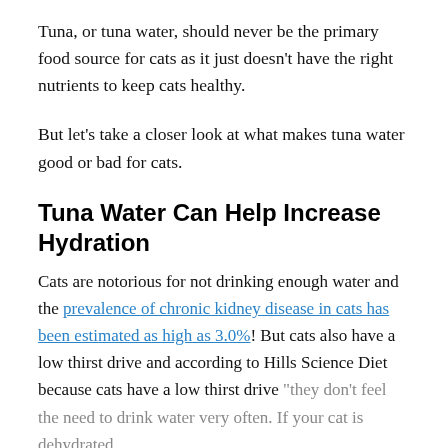Tuna, or tuna water, should never be the primary food source for cats as it just doesn't have the right nutrients to keep cats healthy.
But let's take a closer look at what makes tuna water good or bad for cats.
Tuna Water Can Help Increase Hydration
Cats are notorious for not drinking enough water and the prevalence of chronic kidney disease in cats has been estimated as high as 3.0%! But cats also have a low thirst drive and according to Hills Science Diet because cats have a low thirst drive "they don't feel the need to drink water very often. If your cat is dehydrated,